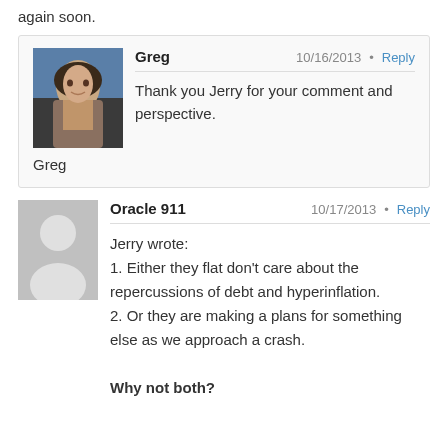again soon.
Greg
10/16/2013 • Reply
Thank you Jerry for your comment and perspective.
Greg
Oracle 911
10/17/2013 • Reply
Jerry wrote:
1. Either they flat don't care about the repercussions of debt and hyperinflation.
2. Or they are making a plans for something else as we approach a crash.
Why not both?